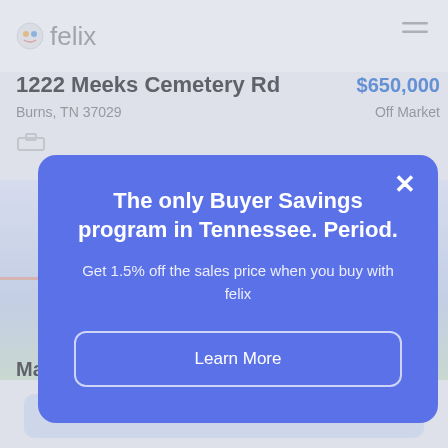[Figure (screenshot): Felix real estate app background showing property listing at 1222 Meeks Cemetery Rd priced at $650,000, Off Market status, with a map view and Book a tour button]
The only Buyer Savings program in Tennessee. Period.
Get 1.5% off the sales price when you buy with felix
Learn More